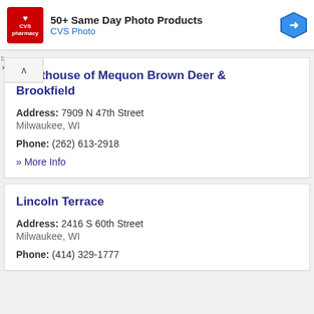[Figure (other): CVS Pharmacy advertisement banner: '50+ Same Day Photo Products / CVS Photo' with CVS logo and navigation arrow icon]
Lighthouse of Mequon Brown Deer & Brookfield
Address: 7909 N 47th Street
Milwaukee, WI
Phone: (262) 613-2918
» More Info
Lincoln Terrace
Address: 2416 S 60th Street
Milwaukee, WI
Phone: (414) 329-1777